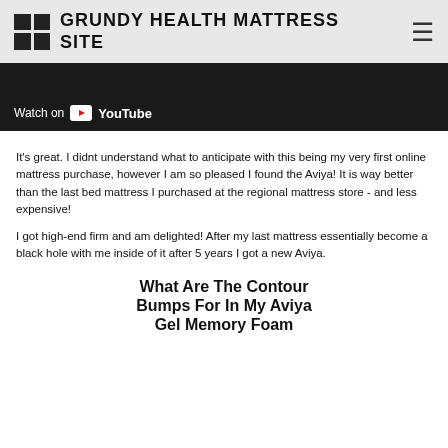GRUNDY HEALTH MATTRESS SITE
[Figure (screenshot): YouTube video embed showing 'Watch on YouTube' badge over a dark video frame]
It's great. I didnt understand what to anticipate with this being my very first online mattress purchase, however I am so pleased I found the Aviya! It is way better than the last bed mattress I purchased at the regional mattress store - and less expensive!
I got high-end firm and am delighted! After my last mattress essentially become a black hole with me inside of it after 5 years I got a new Aviya.
What Are The Contour Bumps For In My Aviya Gel Memory Foam